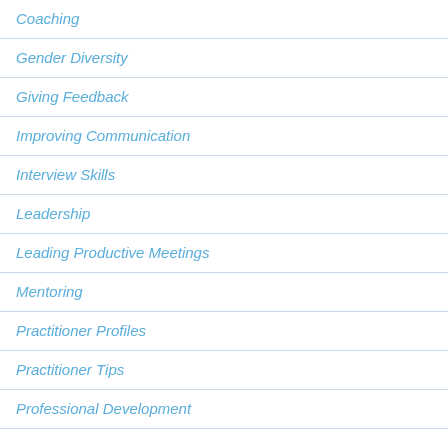Coaching
Gender Diversity
Giving Feedback
Improving Communication
Interview Skills
Leadership
Leading Productive Meetings
Mentoring
Practitioner Profiles
Practitioner Tips
Professional Development